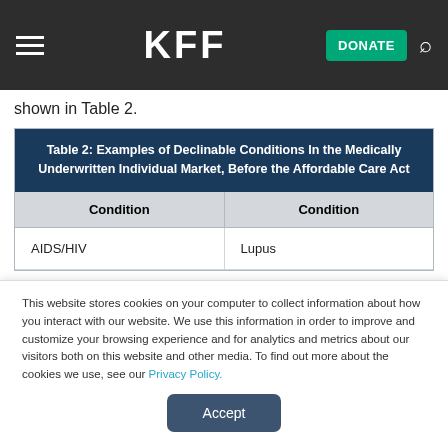KFF
shown in Table 2.
| Condition | Condition |
| --- | --- |
| AIDS/HIV | Lupus |
This website stores cookies on your computer to collect information about how you interact with our website. We use this information in order to improve and customize your browsing experience and for analytics and metrics about our visitors both on this website and other media. To find out more about the cookies we use, see our Privacy Policy.